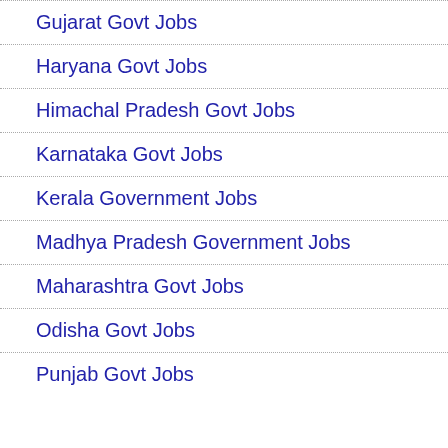Gujarat Govt Jobs
Haryana Govt Jobs
Himachal Pradesh Govt Jobs
Karnataka Govt Jobs
Kerala Government Jobs
Madhya Pradesh Government Jobs
Maharashtra Govt Jobs
Odisha Govt Jobs
Punjab Govt Jobs